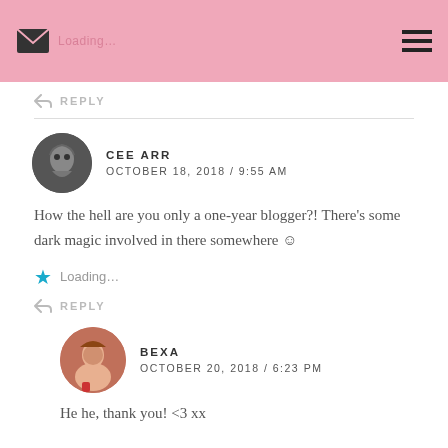Loading...
↩ REPLY
CEE ARR
OCTOBER 18, 2018 / 9:55 AM
How the hell are you only a one-year blogger?! There's some dark magic involved in there somewhere 🙂
Loading...
↩ REPLY
BEXA
OCTOBER 20, 2018 / 6:23 PM
He he, thank you! <3 xx